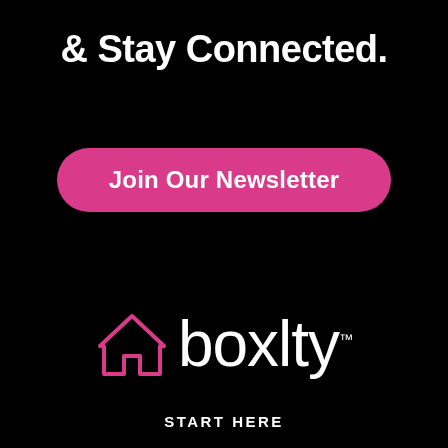& Stay Connected.
Join Our Newsletter
[Figure (logo): Boxity logo with a pink house outline icon and the word 'boxlty' in white with a TM mark]
START HERE